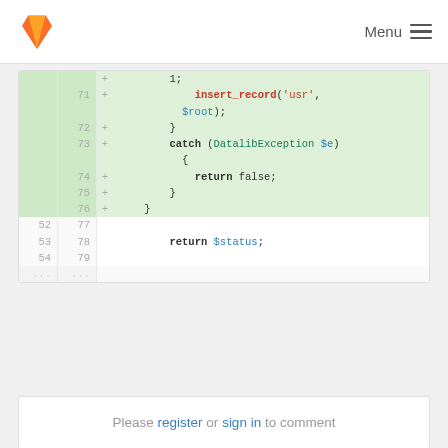GitLab logo | Menu
[Figure (screenshot): GitLab code diff view showing PHP code lines 71-79, with added lines (green background) for insert_record, catch DatalibException, return false, and closing braces, and normal lines for return $status;]
Please register or sign in to comment